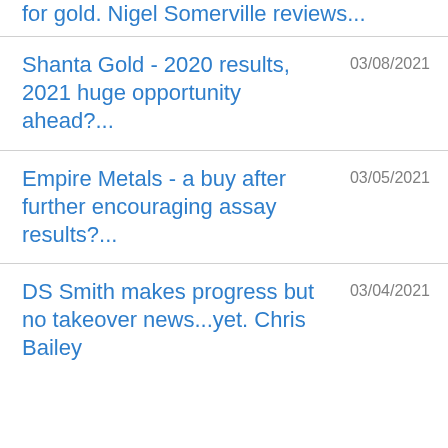for gold. Nigel Somerville reviews...
Shanta Gold - 2020 results, 2021 huge opportunity ahead?... 03/08/2021
Empire Metals - a buy after further encouraging assay results?... 03/05/2021
DS Smith makes progress but no takeover news...yet. Chris Bailey 03/04/2021